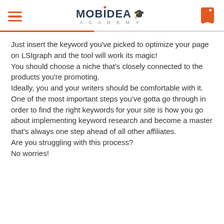MOBIDEA ACADEMY
Just insert the keyword you've picked to optimize your page on LSIgraph and the tool will work its magic!
You should choose a niche that's closely connected to the products you're promoting.
Ideally, you and your writers should be comfortable with it.
One of the most important steps you've gotta go through in order to find the right keywords for your site is how you go about implementing keyword research and become a master that's always one step ahead of all other affiliates.
Are you struggling with this process?
No worries!